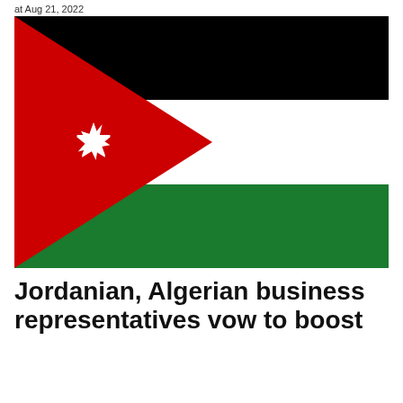at Aug 21, 2022
[Figure (illustration): Flag of Jordan: horizontal tricolor of black, white, and green with a red triangle on the hoist side containing a white seven-pointed star.]
Jordanian, Algerian business representatives vow to boost